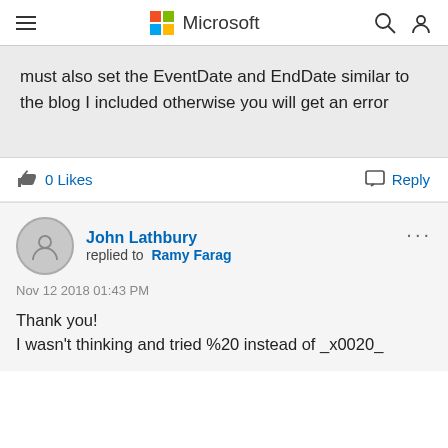Microsoft
must also set the EventDate and EndDate similar to the blog I included otherwise you will get an error
0 Likes   Reply
John Lathbury replied to Ramy Farag
Nov 12 2018 01:43 PM
Thank you!
I wasn't thinking and tried %20 instead of _x0020_